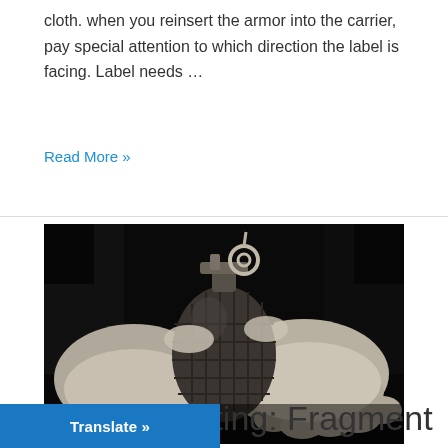cloth. when you reinsert the armor into the carrier, pay special attention to which direction the label is facing. Label needs …
Read More »
[Figure (photo): Black and white photograph of two hands cupping a hand grenade with a pin visible at the top.]
Military Testing: Fragment